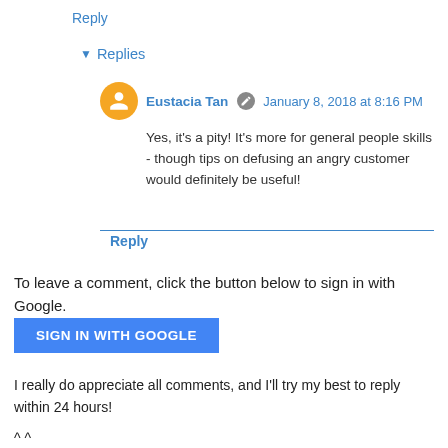Reply
▾ Replies
Eustacia Tan  January 8, 2018 at 8:16 PM
Yes, it's a pity! It's more for general people skills - though tips on defusing an angry customer would definitely be useful!
Reply
To leave a comment, click the button below to sign in with Google.
SIGN IN WITH GOOGLE
I really do appreciate all comments, and I'll try my best to reply within 24 hours!
^ ^